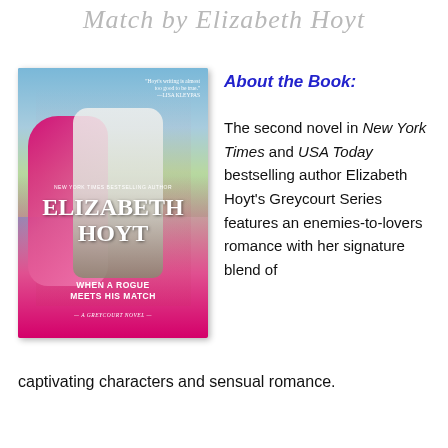Match by Elizabeth Hoyt
[Figure (photo): Book cover of 'When a Rogue Meets His Match' by Elizabeth Hoyt, a Greycourt Novel. Shows a woman in a pink dress and a man in a white shirt embracing in a garden setting. Cover includes quote: 'Hoyt's writing is almost too good to be true.' —Lisa Kleypas. New York Times Bestselling Author.]
About the Book:
The second novel in New York Times and USA Today bestselling author Elizabeth Hoyt's Greycourt Series features an enemies-to-lovers romance with her signature blend of captivating characters and sensual romance.